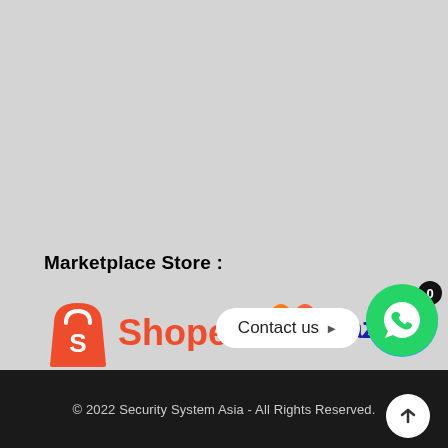Marketplace Store :
[Figure (logo): Shopee logo — orange shopping bag with S and orange Shopee wordmark]
[Figure (logo): Lazada logo — orange/pink heart shape and blue Lazada wordmark]
[Figure (other): Blue circle cart button with badge showing 0]
[Figure (other): White pill Contact us button with arrow]
[Figure (other): Green WhatsApp circle button]
[Figure (other): White circle scroll-to-top button with upward arrow]
© 2022 Security System Asia - All Rights Reserved.